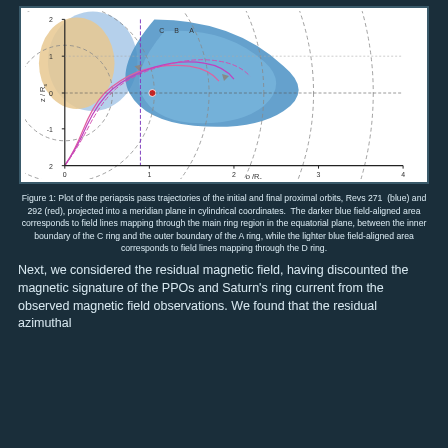[Figure (continuous-plot): Plot of periapsis pass trajectories of initial and final proximal orbits (Revs 271 blue and 292 red) projected into a meridian plane in cylindrical coordinates. Shows field-aligned areas in blue (darker for main ring region, lighter for D ring) and pink/magenta trajectory lines, with arrows. Axes: rho/R_S (x-axis, 0-4) and z/R_S (y-axis, -2 to 2).]
Figure 1: Plot of the periapsis pass trajectories of the initial and final proximal orbits, Revs 271 (blue) and 292 (red), projected into a meridian plane in cylindrical coordinates. The darker blue field-aligned area corresponds to field lines mapping through the main ring region in the equatorial plane, between the inner boundary of the C ring and the outer boundary of the A ring, while the lighter blue field-aligned area corresponds to field lines mapping through the D ring.
Next, we considered the residual magnetic field, having discounted the magnetic signature of the PPOs and Saturn's ring current from the observed magnetic field observations. We found that the residual azimuthal